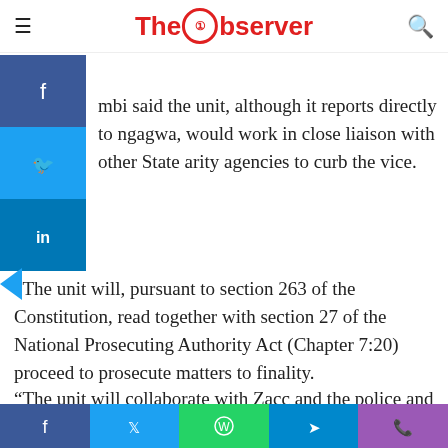The Observer
he said.
mbi said the unit, although it reports directly to ngagwa, would work in close liaison with other State arity agencies to curb the vice.
“The unit will, pursuant to section 263 of the Constitution, read together with section 27 of the National Prosecuting Authority Act (Chapter 7:20) proceed to prosecute matters to finality.
“The unit will collaborate with Zacc and the police and it will also assist other investigative agencies of the State in the
Share buttons: Facebook, Twitter, WhatsApp, Telegram, Phone